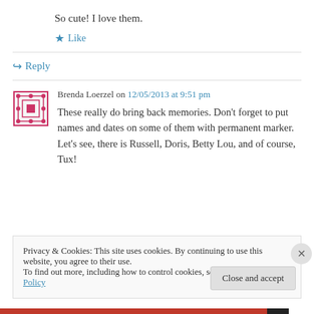So cute! I love them.
★ Like
↪ Reply
Brenda Loerzel on 12/05/2013 at 9:51 pm
These really do bring back memories. Don't forget to put names and dates on some of them with permanent marker. Let's see, there is Russell, Doris, Betty Lou, and of course, Tux!
Privacy & Cookies: This site uses cookies. By continuing to use this website, you agree to their use.
To find out more, including how to control cookies, see here: Cookie Policy
Close and accept